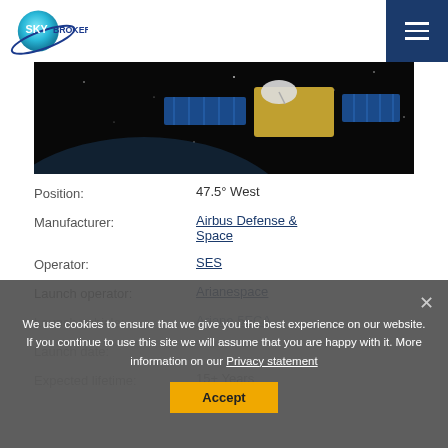[Figure (logo): Sky Brokers logo with globe graphic and text]
[Figure (photo): Satellite in space against dark background]
| Field | Value |
| --- | --- |
| Position: | 47.5° West |
| Manufacturer: | Airbus Defense & Space |
| Operator: | SES |
| Launch operator: | Arianespace |
| Launch vehicle: | Ariane 5ECA |
| Launch date: |  |
| Expected lifetime: | 15+ Years |
We use cookies to ensure that we give you the best experience on our website. If you continue to use this site we will assume that you are happy with it. More information on our Privacy statement
Accept